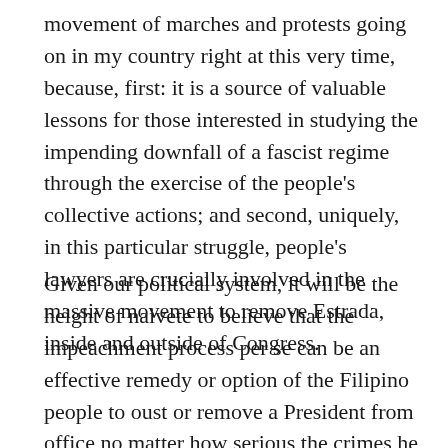movement of marches and protests going on in my country right at this very time, because, first: it is a source of valuable lessons for those interested in studying the impending downfall of a fascist regime through the exercise of the people's collective actions; and second, uniquely, in this particular struggle, people's lawyers are crucially involved in the massive movement to remove Estrada, inside and outside of Congress.
Given our political system, it will be the height of naivete to believe that the impeachment process per se can be an effective remedy or option of the Filipino people to oust or remove a President from office no matter how serious the crimes he has committed or how unfit he has become to govern the nation. I said per se because this made